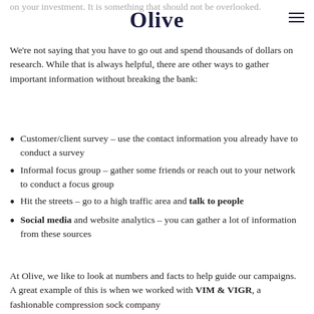on your investment. It is something that should not be overlooked.
Olive
We're not saying that you have to go out and spend thousands of dollars on research. While that is always helpful, there are other ways to gather important information without breaking the bank:
Customer/client survey – use the contact information you already have to conduct a survey
Informal focus group – gather some friends or reach out to your network to conduct a focus group
Hit the streets – go to a high traffic area and talk to people
Social media and website analytics – you can gather a lot of information from these sources
At Olive, we like to look at numbers and facts to help guide our campaigns. A great example of this is when we worked with VIM & VIGR, a fashionable compression sock company